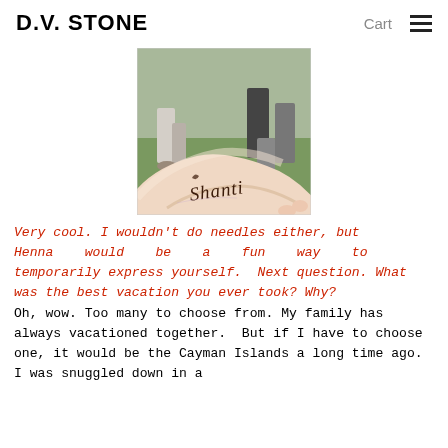D.V. STONE   Cart ≡
[Figure (photo): A person's forearm/wrist with a henna tattoo reading 'Shanti' in decorative script, with people in the background on grass]
Very cool. I wouldn't do needles either, but Henna would be a fun way to temporarily express yourself. Next question. What was the best vacation you ever took? Why? Oh, wow. Too many to choose from. My family has always vacationed together. But if I have to choose one, it would be the Cayman Islands a long time ago. I was snuggled down in a